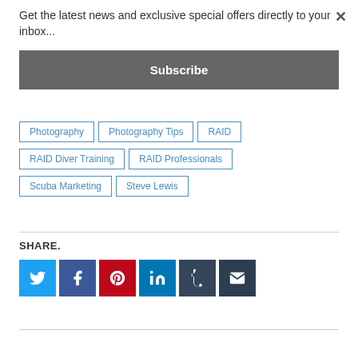Get the latest news and exclusive special offers directly to your inbox...
Subscribe
Photography
Photography Tips
RAID
RAID Diver Training
RAID Professionals
Scuba Marketing
Steve Lewis
SHARE.
[Figure (infographic): Social share buttons: Twitter (blue), Facebook (dark blue), Pinterest (red), LinkedIn (blue), Tumblr (dark navy), Email (dark)]